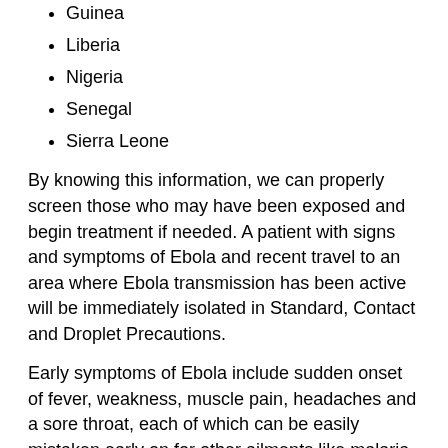Guinea
Liberia
Nigeria
Senegal
Sierra Leone
By knowing this information, we can properly screen those who may have been exposed and begin treatment if needed. A patient with signs and symptoms of Ebola and recent travel to an area where Ebola transmission has been active will be immediately isolated in Standard, Contact and Droplet Precautions.
Early symptoms of Ebola include sudden onset of fever, weakness, muscle pain, headaches and a sore throat, each of which can be easily mistaken early on for other ailments like malaria, typhoid fever and meningitis. It generally takes about 5 to 7 days to develop symptoms. However, symptoms might not appear until two to 21 days after one is infected. Ebola can cause viral hemorrhagic fever, which can affect multiple organ systems in the body and is often accompanied by bleeding.